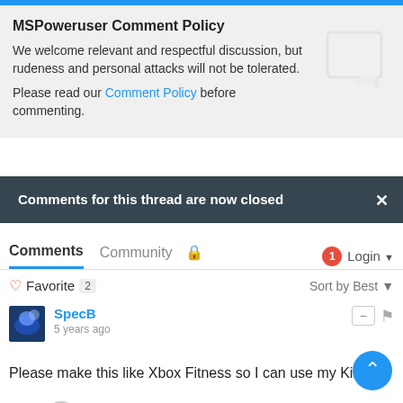MSPoweruser Comment Policy
We welcome relevant and respectful discussion, but rudeness and personal attacks will not be tolerated.
Please read our Comment Policy before commenting.
Comments for this thread are now closed
Comments  Community  🔒  1  Login ▾
♡ Favorite 2   Sort by Best ▾
SpecB
5 years ago
Please make this like Xbox Fitness so I can use my Kinect.
elpadr1no → SpecB
5 years ago